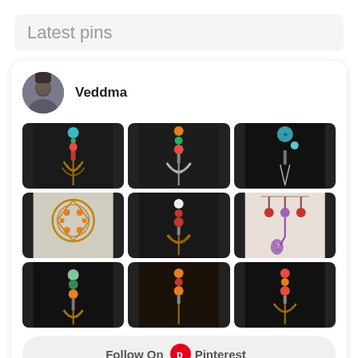Latest pins
Veddma
[Figure (photo): Grid of 9 jewelry/bookmark photos showing beaded charms with bronze tree-of-life pendants and decorative beads on dark backgrounds]
Follow On Pinterest